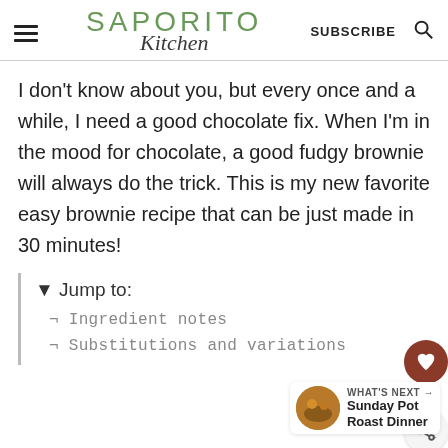SAPORITO Kitchen — SUBSCRIBE [search icon]
I don't know about you, but every once and a while, I need a good chocolate fix. When I'm in the mood for chocolate, a good fudgy brownie will always do the trick. This is my new favorite easy brownie recipe that can be just made in 30 minutes!
▼ Jump to:
⌐ Ingredient notes
⌐ Substitutions and variations